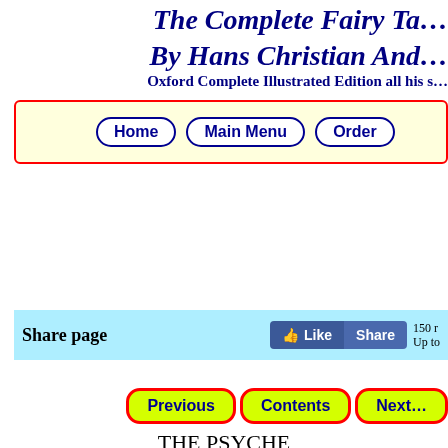The Complete Fairy Tales By Hans Christian Andersen Oxford Complete Illustrated Edition all his stories
[Figure (screenshot): Navigation bar with yellow background and red border containing Home, Main Menu, Order buttons with blue rounded borders]
[Figure (screenshot): Share page bar with light blue background, bold text 'Share page', Facebook Like and Share buttons, and count 150]
[Figure (screenshot): Navigation row with Previous, Contents, Next buttons styled with red border and yellow-green background]
THE PSYCHE
but it wrote nothing there upon being made notbing of the hope of mercy, of the reliance o